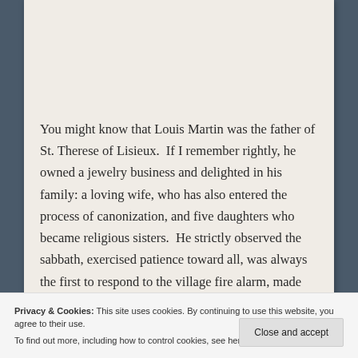You might know that Louis Martin was the father of St. Therese of Lisieux.  If I remember rightly, he owned a jewelry business and delighted in his family: a loving wife, who has also entered the process of canonization, and five daughters who became religious sisters.  He strictly observed the sabbath, exercised patience toward all, was always the first to respond to the village fire alarm, made time for quiet meditation, and loved his daughters
Privacy & Cookies: This site uses cookies. By continuing to use this website, you agree to their use.
To find out more, including how to control cookies, see here: Cookie Policy